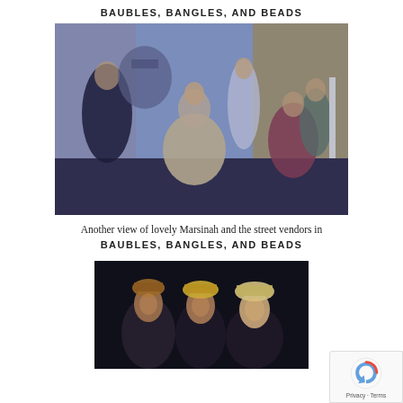BAUBLES, BANGLES, AND BEADS
[Figure (photo): Stage performance photo showing Marsinah and street vendors in a theatrical scene with costumes and set pieces]
Another view of lovely Marsinah and the street vendors in
BAUBLES, BANGLES, AND BEADS
[Figure (photo): Dark stage photo showing three performers wearing ornate headpieces/crowns in a theatrical production]